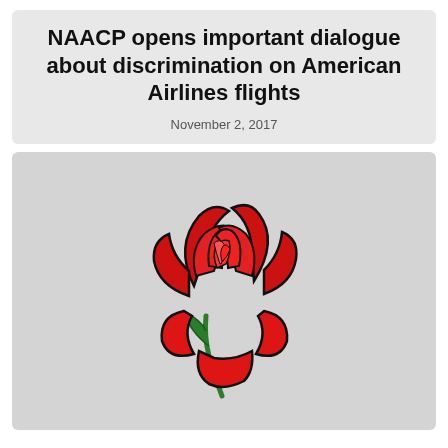NAACP opens important dialogue about discrimination on American Airlines flights
November 2, 2017
[Figure (illustration): Clipart illustration of a red rose with a green stem on a light gray background]